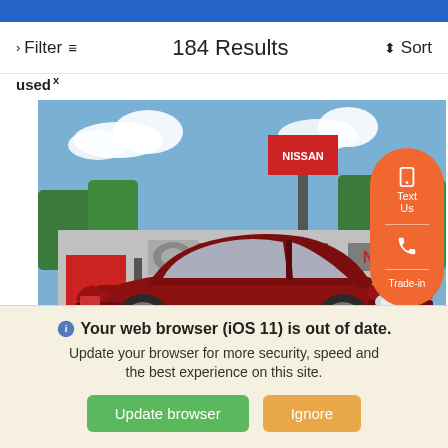› Filter  184 Results  ⬍ Sort
used ×
[Figure (photo): Red Nissan Versa sedan parked in front of Queens Nissan dealership. Background shows dealership signage with 'NISSAN' in red letters, blue sky with clouds and trees.]
Your web browser (iOS 11) is out of date. Update your browser for more security, speed and the best experience on this site.
Update browser   Ignore